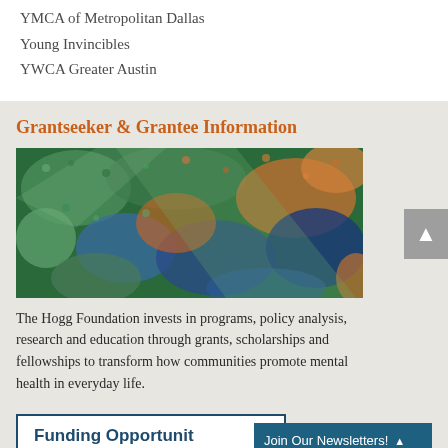YMCA of Metropolitan Dallas
Young Invincibles
YWCA Greater Austin
Grantseeker & Grantee Information
[Figure (photo): Aerial view of a large crowd of people, colorful, viewed from above]
The Hogg Foundation invests in programs, policy analysis, research and education through grants, scholarships and fellowships to transform how communities promote mental health in everyday life.
Funding Opportunit